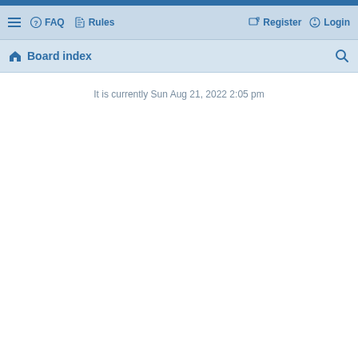navigation bar with hamburger menu, FAQ, Rules, Register, Login
Board index
It is currently Sun Aug 21, 2022 2:05 pm